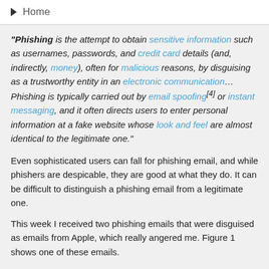Home
"Phishing is the attempt to obtain sensitive information such as usernames, passwords, and credit card details (and, indirectly, money), often for malicious reasons, by disguising as a trustworthy entity in an electronic communication… Phishing is typically carried out by email spoofing[4] or instant messaging, and it often directs users to enter personal information at a fake website whose look and feel are almost identical to the legitimate one."
Even sophisticated users can fall for phishing email, and while phishers are despicable, they are good at what they do. It can be difficult to distinguish a phishing email from a legitimate one.
This week I received two phishing emails that were disguised as emails from Apple, which really angered me. Figure 1 shows one of these emails.